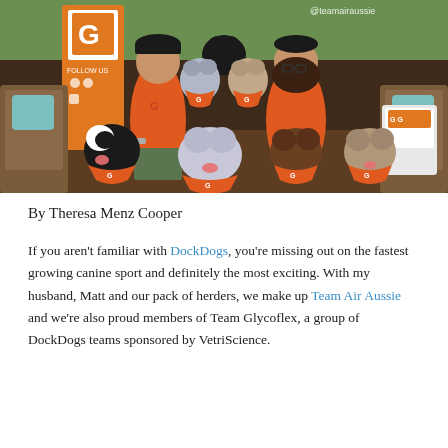[Figure (photo): Group photo of two people and seven Australian Shepherd dogs wearing orange Glycoflex bandanas, sitting on a deck in front of a banner. A man in an orange shirt and a woman in an orange top are surrounded by the dogs. Text '@teamairaussie' visible top right.]
By Theresa Menz Cooper
If you aren't familiar with DockDogs, you're missing out on the fastest growing canine sport and definitely the most exciting. With my husband, Matt and our pack of herders, we make up Team Air Aussie and we're also proud members of Team Glycoflex, a group of DockDogs teams sponsored by VetriScience.